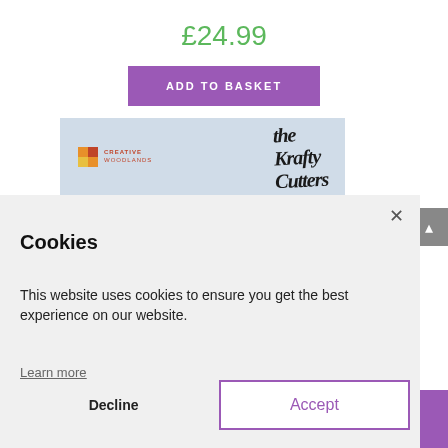£24.99
ADD TO BASKET
[Figure (screenshot): Product image area with Creative Woodlands logo and Krafty Cutters logo on a light blue background]
Cookies
This website uses cookies to ensure you get the best experience on our website.
Learn more
Decline
Accept
- 1 + ADD TO BASKET